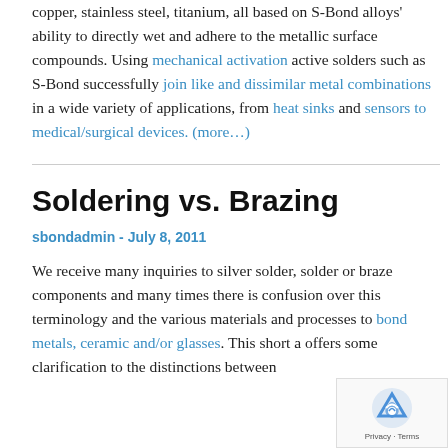copper, stainless steel, titanium, all based on S-Bond alloys' ability to directly wet and adhere to the metallic surface compounds. Using mechanical activation active solders such as S-Bond successfully join like and dissimilar metal combinations in a wide variety of applications, from heat sinks and sensors to medical/surgical devices. (more…)
Soldering vs. Brazing
sbondadmin - July 8, 2011
We receive many inquiries to silver solder, solder or braze components and many times there is confusion over this terminology and the various materials and processes to bond metals, ceramic and/or glasses. This short a offers some clarification to the distinctions between